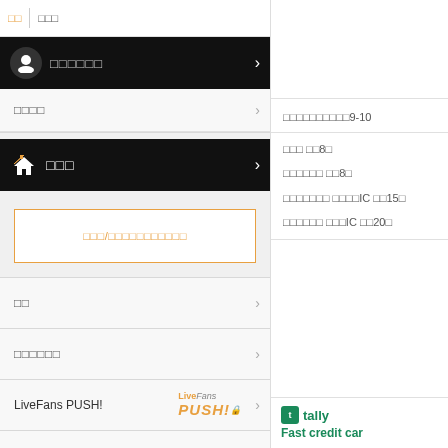□□ | □□□ □□□□□□
□□□□
□□□
□□□/□□□□□□□□□□□
□□
□□□□□□
LiveFans PUSH!
□□□□□□□□□
□□□□
□□□□
□□□□□□□□□□9-10
□□□ □□8□
□□□□□□ □□8□
□□□□□□□ □□□□IC □□15□
□□□□□□ □□□IC □□20□
Fast credit car
[Figure (logo): Tally logo with green icon and text 'Fast credit car']